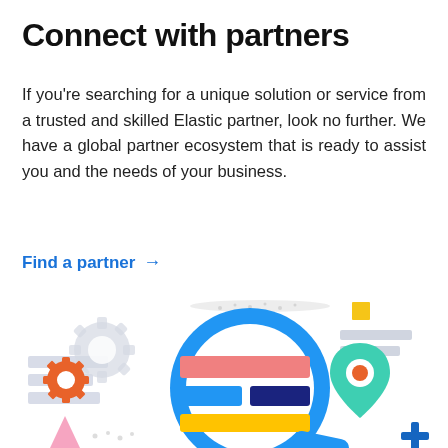Connect with partners
If you're searching for a unique solution or service from a trusted and skilled Elastic partner, look no further. We have a global partner ecosystem that is ready to assist you and the needs of your business.
Find a partner →
[Figure (illustration): Illustration showing a large blue magnifying glass overlaid on a bar-chart style graphic with colored bars (pink/salmon, blue, dark navy, yellow), flanked by a gray gear icon, an orange gear icon, a teal map pin icon with an orange location marker, a small yellow square, gray horizontal bars, and a blue plus sign in the bottom right corner.]